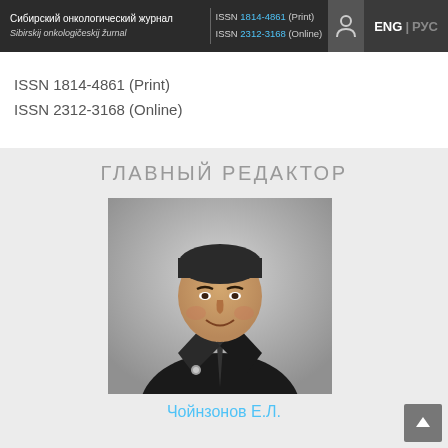Сибирский онкологический журнал | Sibirskij onkologičeskij žurnal | ISSN 1814-4861 (Print) | ISSN 2312-3168 (Online) | ENG | РУС
ISSN 1814-4861 (Print)
ISSN 2312-3168 (Online)
ГЛАВНЫЙ РЕДАКТОР
[Figure (photo): Portrait photograph of a middle-aged Asian man in a dark suit with a tie, smiling, against a light background.]
Чойнзонов Е.Л.